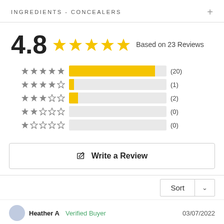INGREDIENTS - CONCEALERS
4.8 ★★★★★ Based on 23 Reviews
[Figure (bar-chart): Star rating distribution]
✎ Write a Review
Sort
Heather A  Verified Buyer  03/07/2022